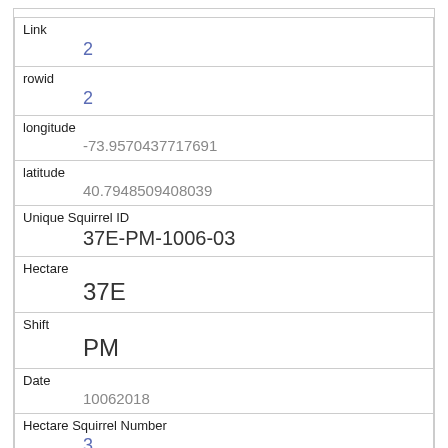| Field | Value |
| --- | --- |
| Link | 2 |
| rowid | 2 |
| longitude | -73.9570437717691 |
| latitude | 40.7948509408039 |
| Unique Squirrel ID | 37E-PM-1006-03 |
| Hectare | 37E |
| Shift | PM |
| Date | 10062018 |
| Hectare Squirrel Number | 3 |
| Age | Adult |